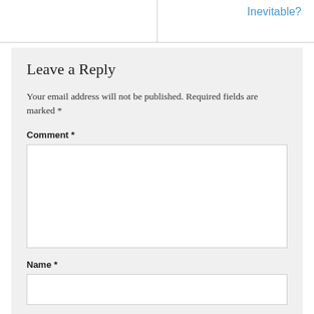Inevitable?
Leave a Reply
Your email address will not be published. Required fields are marked *
Comment *
Name *
Email *